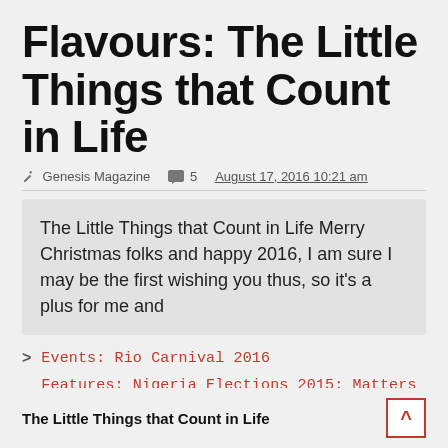Flavours: The Little Things that Count in Life
Genesis Magazine  ◯5  August 17, 2016 10:21 am
The Little Things that Count in Life Merry Christmas folks and happy 2016, I am sure I may be the first wishing you thus, so it's a plus for me and
Events: Rio Carnival 2016
Features: Nigeria Elections 2015: Matters Arising
Entertainment: MTV Africa Music Awards 2015
The Little Things that Count in Life